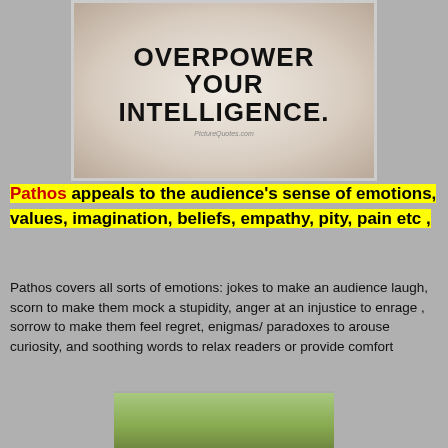[Figure (illustration): Quote image with bokeh background showing text 'OVERPOWER YOUR INTELLIGENCE.' with PictureQuotes.com watermark]
Pathos appeals to the audience's sense of emotions, values, imagination, beliefs, empathy, pity, pain etc ,
Pathos covers all sorts of emotions: jokes to make an audience laugh, scorn to make them mock a stupidity, anger at an injustice to enrage , sorrow to make them feel regret, enigmas/ paradoxes to arouse curiosity, and soothing words to relax readers or provide comfort
[Figure (photo): Partial bottom image showing green leaves or plant material]